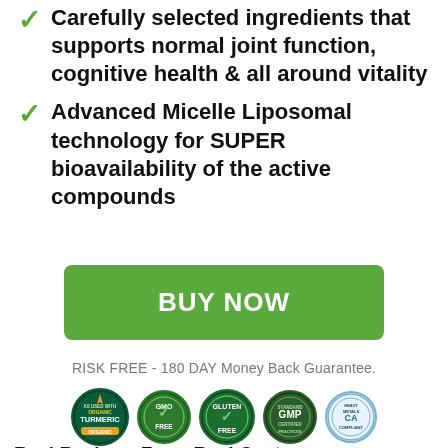Carefully selected ingredients that supports normal joint function, cognitive health & all around vitality
Advanced Micelle Liposomal technology for SUPER bioavailability of the active compounds
BUY NOW
RISK FREE - 180 DAY Money Back Guarantee.
[Figure (logo): Five certification badge logos: Organic Turmeric, GMO Free, Gluten Free, GMP Certified, Heavy Metal Compliant]
Real Reviews From Real Customers
★★★★★ 189 Reviews